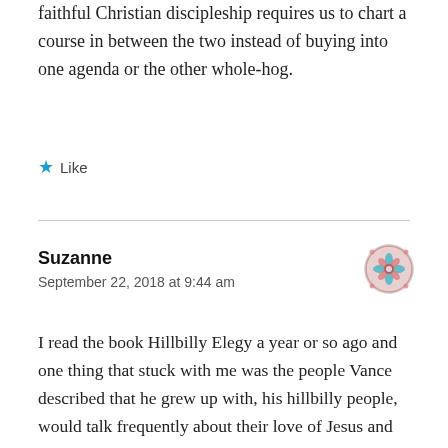faithful Christian discipleship requires us to chart a course in between the two instead of buying into one agenda or the other whole-hog.
Like
Suzanne
September 22, 2018 at 9:44 am
[Figure (illustration): Avatar icon for commenter Suzanne — decorative geometric/floral tile pattern in pink and teal]
I read the book Hillbilly Elegy a year or so ago and one thing that stuck with me was the people Vance described that he grew up with, his hillbilly people, would talk frequently about their love of Jesus and complain about those who did not believe, but he admits that most of them rarely darken the doors of any church and were quite ignorant of church teaching. I